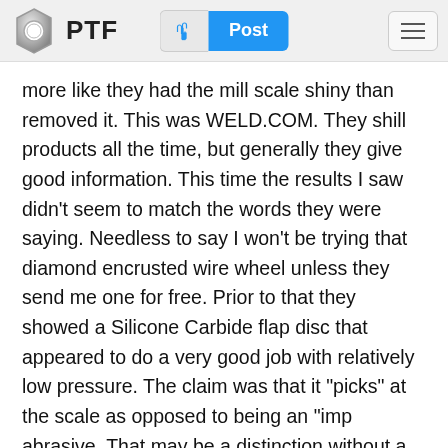PTF  Post
more like they had the mill scale shiny than removed it. This was WELD.COM. They shill products all the time, but generally they give good information. This time the results I saw didn't seem to match the words they were saying. Needless to say I won't be trying that diamond encrusted wire wheel unless they send me one for free. Prior to that they showed a Silicone Carbide flap disc that appeared to do a very good job with relatively low pressure. The claim was that it "picks" at the scale as opposed to being an "imp abrasive. That may be a distinction without a difference, but the result I could clearly see on the piece of flat plate they were cleaning was the best of everything they showed. That could have just been